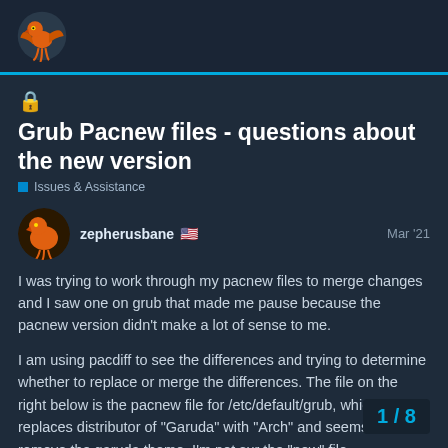Garuda Linux forum header with logo
🔒 Grub Pacnew files - questions about the new version
Issues & Assistance
zepherusbane 🇺🇸  Mar '21
I was trying to work through my pacnew files to merge changes and I saw one on grub that made me pause because the pacnew version didn't make a lot of sense to me.
I am using pacdiff to see the differences and trying to determine whether to replace or merge the differences. The file on the right below is the pacnew file for /etc/default/grub, which replaces distributor of "Garuda" with "Arch" and seems to remove the garuda theme. I'm not sur the "new" file.
1 / 8